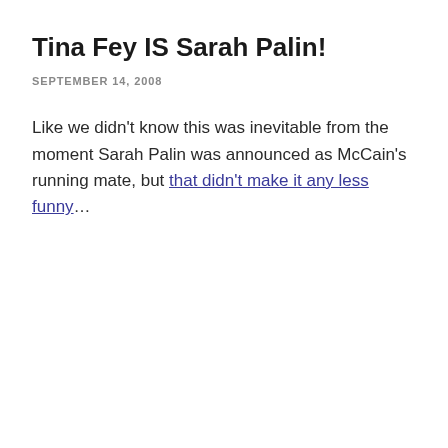Tina Fey IS Sarah Palin!
SEPTEMBER 14, 2008
Like we didn't know this was inevitable from the moment Sarah Palin was announced as McCain's running mate, but that didn't make it any less funny...